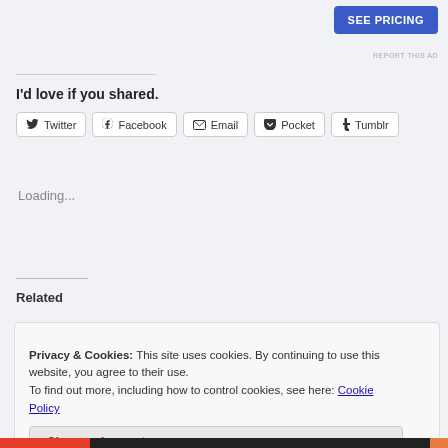[Figure (screenshot): SEE PRICING blue button in top right area]
REPORT THIS AD
I'd love if you shared.
[Figure (screenshot): Social share buttons: Twitter, Facebook, Email, Pocket, Tumblr]
Loading...
Related
Privacy & Cookies: This site uses cookies. By continuing to use this website, you agree to their use.
To find out more, including how to control cookies, see here: Cookie Policy
Close and accept